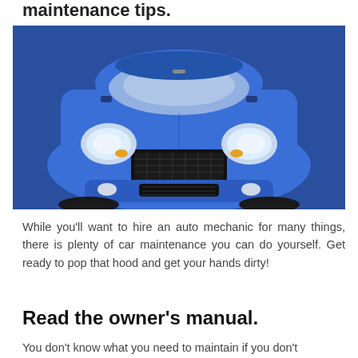maintenance tips.
[Figure (photo): Front view of a blue compact car (Suzuki Swift-style) photographed against a blue background, showing the grille, headlights, hood, and windshield.]
While you'll want to hire an auto mechanic for many things, there is plenty of car maintenance you can do yourself. Get ready to pop that hood and get your hands dirty!
Read the owner's manual.
You don't know what you need to maintain if you don't